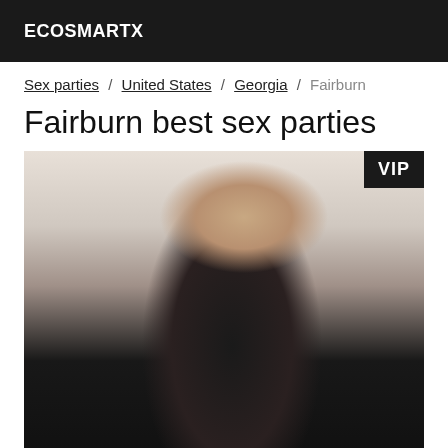ECOSMARTX
Sex parties / United States / Georgia / Fairburn
Fairburn best sex parties
[Figure (photo): Person wearing a black tank top with arms raised behind their head, photographed from behind/side in a white room. A VIP badge appears in the top-right corner of the image.]